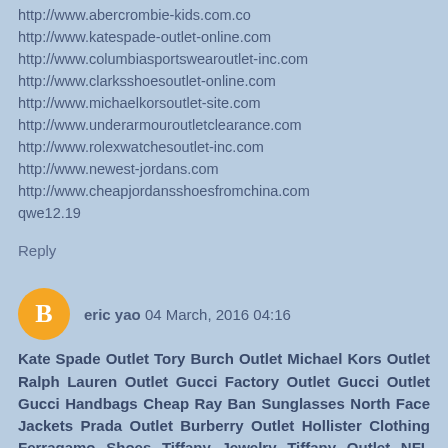http://www.abercrombie-kids.com.co
http://www.katespade-outlet-online.com
http://www.columbiasportswearoutlet-inc.com
http://www.clarksshoesoutlet-online.com
http://www.michaelkorsoutlet-site.com
http://www.underarmouroutletclearance.com
http://www.rolexwatchesoutlet-inc.com
http://www.newest-jordans.com
http://www.cheapjordansshoesfromchina.com
qwe12.19
Reply
eric yao  04 March, 2016 04:16
Kate Spade Outlet Tory Burch Outlet Michael Kors Outlet Ralph Lauren Outlet Gucci Factory Outlet Gucci Outlet Gucci Handbags Cheap Ray Ban Sunglasses North Face Jackets Prada Outlet Burberry Outlet Hollister Clothing Ferragamo Shoes Tiffany Jewelry Tiffany Outlet NFL Jerseys Cheap Jordans Oakley Outlet North Face Outlet Burberry Outlet Ray Ban Sunglasses